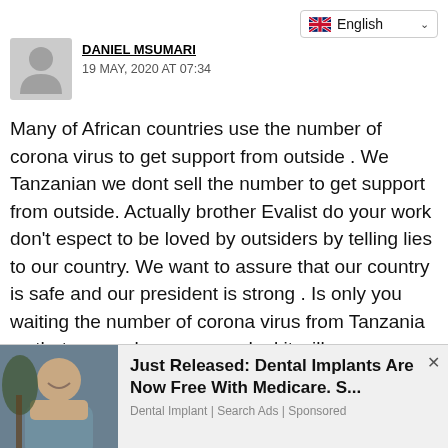[Figure (other): Language selector dropdown showing UK flag and 'English' with a chevron]
[Figure (other): Grey avatar silhouette placeholder image for user profile]
DANIEL MSUMARI
19 MAY, 2020 AT 07:34
Many of African countries use the number of corona virus to get support from outside . We Tanzanian we dont sell the number to get support from outside. Actually brother Evalist do your work don’t espect to be loved by outsiders by telling lies to our country. We want to assure that our country is safe and our president is strong . Is only you waiting the number of corona virus from Tanzania so that you make your own deal it will never happen. Our neighbour to close their borders it is not un issue for us the time will tell ,because we know for sure they need our country for many things. Tanzania is a free
[Figure (photo): Advertisement photo of a smiling woman outdoors]
Just Released: Dental Implants Are Now Free With Medicare. S...
Dental Implant | Search Ads | Sponsored